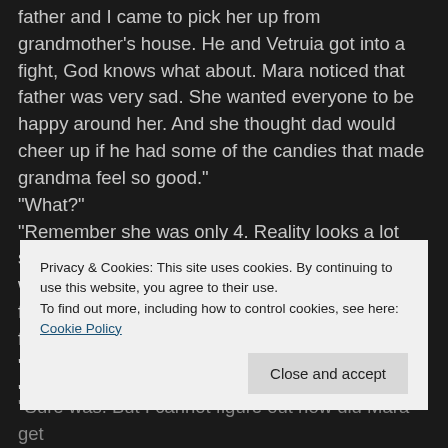father and I came to pick her up from grandmother's house. He and Vetruia got into a fight, God knows what about. Mara noticed that father was very sad. She wanted everyone to be happy around her. And she thought dad would cheer up if he had some of the candies that made grandma feel so good."
"What?"
"Remember she was only 4. Reality looks a lot simpler through a child's eyes. I don't really know what happened after we left, but the next morning, father came to make peace with grandma. And found her dead."
"Jeez..."
"Yeah. After the funeral, when he cleaned the house,
Privacy & Cookies: This site uses cookies. By continuing to use this website, you agree to their use.
To find out more, including how to control cookies, see here: Cookie Policy
"Sure was. But I cannot figure out how did Mara get